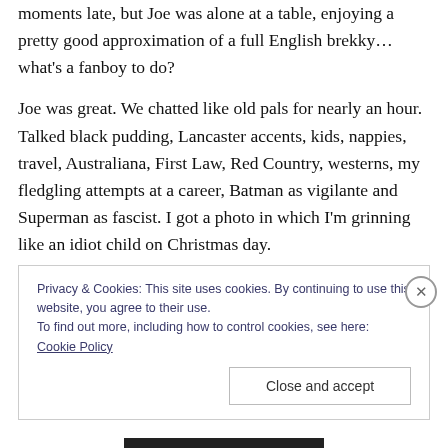moments late, but Joe was alone at a table, enjoying a pretty good approximation of a full English brekky… what's a fanboy to do?
Joe was great. We chatted like old pals for nearly an hour. Talked black pudding, Lancaster accents, kids, nappies, travel, Australiana, First Law, Red Country, westerns, my fledgling attempts at a career, Batman as vigilante and Superman as fascist. I got a photo in which I'm grinning like an idiot child on Christmas day.
Privacy & Cookies: This site uses cookies. By continuing to use this website, you agree to their use. To find out more, including how to control cookies, see here: Cookie Policy
Close and accept